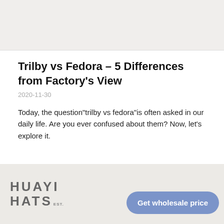[Figure (photo): Top banner image area with light beige/gray background, partially visible photograph]
Trilby vs Fedora – 5 Differences from Factory's View
2020-11-30
Today, the question"trilby vs fedora"is often asked in our daily life. Are you ever confused about them? Now, let's explore it.
[Figure (logo): Huayi Hats logo in bold uppercase letters on beige/gray footer background]
Get wholesale price